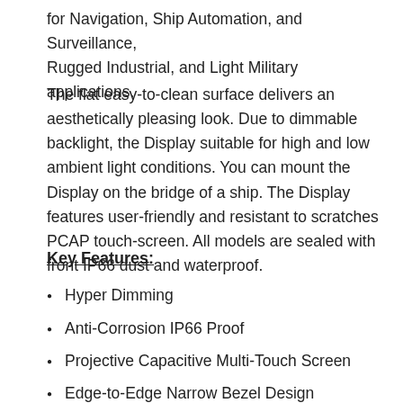for Navigation, Ship Automation, and Surveillance, Rugged Industrial, and Light Military applications.
The flat easy-to-clean surface delivers an aesthetically pleasing look. Due to dimmable backlight, the Display suitable for high and low ambient light conditions. You can mount the Display on the bridge of a ship. The Display features user-friendly and resistant to scratches PCAP touch-screen. All models are sealed with front IP66 dust and waterproof.
Key Features:
Hyper Dimming
Anti-Corrosion IP66 Proof
Projective Capacitive Multi-Touch Screen
Edge-to-Edge Narrow Bezel Design